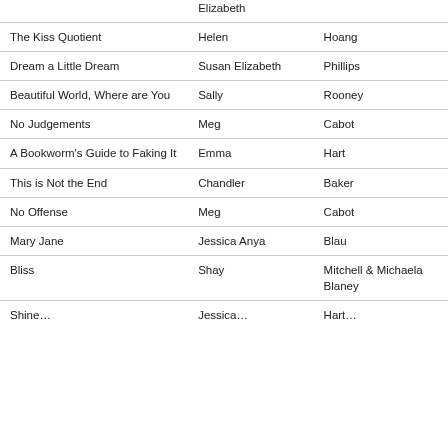|  | Elizabeth |  |
| The Kiss Quotient | Helen | Hoang |
| Dream a Little Dream | Susan Elizabeth | Phillips |
| Beautiful World, Where are You | Sally | Rooney |
| No Judgements | Meg | Cabot |
| A Bookworm's Guide to Faking It | Emma | Hart |
| This is Not the End | Chandler | Baker |
| No Offense | Meg | Cabot |
| Mary Jane | Jessica Anya | Blau |
| Bliss | Shay | Mitchell & Michaela Blaney |
| Shine&hellip; | Jessica&hellip; | Hart&hellip; |